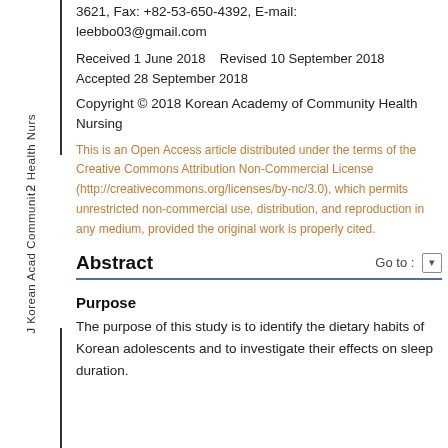3621, Fax: +82-53-650-4392, E-mail: leebbo03@gmail.com
Received 1 June 2018    Revised 10 September 2018
Accepted 28 September 2018
Copyright © 2018 Korean Academy of Community Health Nursing
This is an Open Access article distributed under the terms of the Creative Commons Attribution Non-Commercial License (http://creativecommons.org/licenses/by-nc/3.0), which permits unrestricted non-commercial use, distribution, and reproduction in any medium, provided the original work is properly cited.
Abstract
Purpose
The purpose of this study is to identify the dietary habits of Korean adolescents and to investigate their effects on sleep duration.
J Korean Acad Communitу Health Nurs